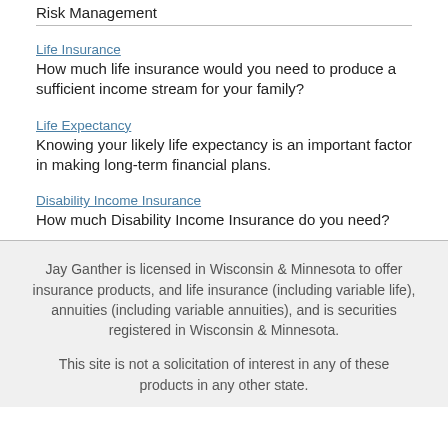Risk Management
Life Insurance
How much life insurance would you need to produce a sufficient income stream for your family?
Life Expectancy
Knowing your likely life expectancy is an important factor in making long-term financial plans.
Disability Income Insurance
How much Disability Income Insurance do you need?
Jay Ganther is licensed in Wisconsin & Minnesota to offer insurance products, and life insurance (including variable life), annuities (including variable annuities), and is securities registered in Wisconsin & Minnesota.
This site is not a solicitation of interest in any of these products in any other state.